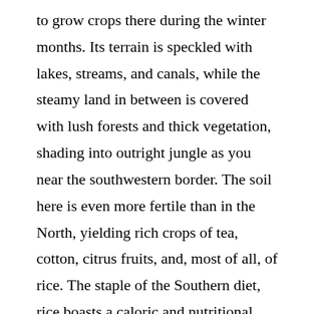to grow crops there during the winter months. Its terrain is speckled with lakes, streams, and canals, while the steamy land in between is covered with lush forests and thick vegetation, shading into outright jungle as you near the southwestern border. The soil here is even more fertile than in the North, yielding rich crops of tea, cotton, citrus fruits, and, most of all, of rice. The staple of the Southern diet, rice boasts a caloric and nutritional content by weight that is considerably higher than that of the wheat and millet of the North. Thanks to the supremely bountiful land in which they are privileged to live, the people of the South have historically